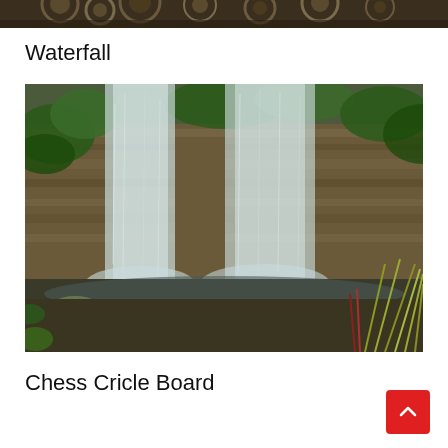[Figure (photo): Partial view of a steampunk or mechanical artwork at the top of the page, cropped]
Waterfall
[Figure (photo): A rendered 3D scene of a waterfall cascading over layered rock formations, with green vegetation, mossy boulders, and grasses in the foreground]
Chess Cricle Board